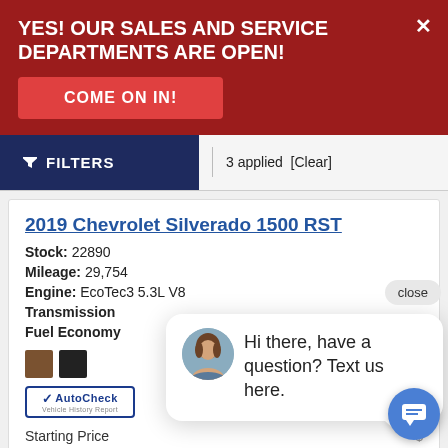YES! OUR SALES AND SERVICE DEPARTMENTS ARE OPEN!
COME ON IN!
FILTERS  |  3 applied  [Clear]
2019 Chevrolet Silverado 1500 RST
Stock: 22890
Mileage: 29,754
Engine: EcoTec3 5.3L V8
Transmission
Fuel Economy
[Figure (other): AutoCheck Vehicle History Report badge]
Starting Price
Lomira Discount  - $[...]85
[Figure (other): Chat popup with avatar saying: Hi there, have a question? Text us here.]
[Figure (other): Blue chat FAB button]